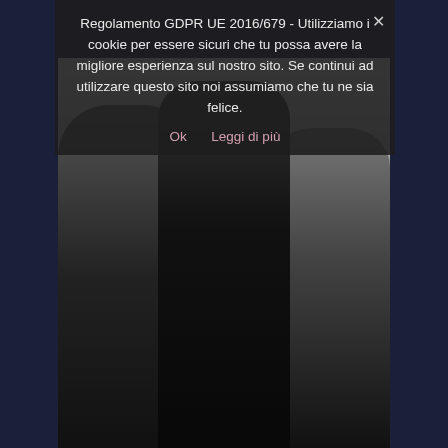Regolamento GDPR UE 2016/679 - Utilizziamo i cookie per essere sicuri che tu possa avere la migliore esperienza sul nostro sito. Se continui ad utilizzare questo sito noi assumiamo che tu ne sia felice.
Ok   Leggi di più
[Figure (photo): Black and white photograph of three people sitting together at what appears to be a fashion event. On the left is a woman with long curly hair wearing a dark outfit and sunglasses. In the center is a tall man wearing a patterned cap, sunglasses, and a dark fuzzy jacket. On the right is a woman with a headband wearing sunglasses and a light-colored outfit with a necklace. There are shopping bags visible near the right person.]